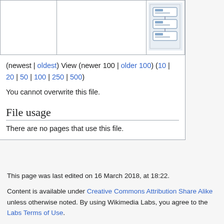[Figure (screenshot): Table row showing file revision entries with a thumbnail diagram of a database/system schema in the rightmost cell]
(newest | oldest) View (newer 100 | older 100) (10 | 20 | 50 | 100 | 250 | 500)
You cannot overwrite this file.
File usage
There are no pages that use this file.
This page was last edited on 16 March 2018, at 18:22.
Content is available under Creative Commons Attribution Share Alike unless otherwise noted. By using Wikimedia Labs, you agree to the Labs Terms of Use.
Privacy policy   About Wikitech-static
Disclaimers